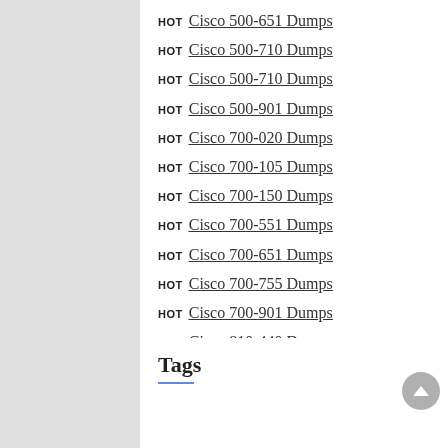HOT Cisco 500-651 Dumps
HOT Cisco 500-710 Dumps
HOT Cisco 500-710 Dumps
HOT Cisco 500-901 Dumps
HOT Cisco 700-020 Dumps
HOT Cisco 700-105 Dumps
HOT Cisco 700-150 Dumps
HOT Cisco 700-551 Dumps
HOT Cisco 700-651 Dumps
HOT Cisco 700-755 Dumps
HOT Cisco 700-901 Dumps
HOT Cisco 810-440 Dumps
HOT Cisco 840-425 Dumps
Tags